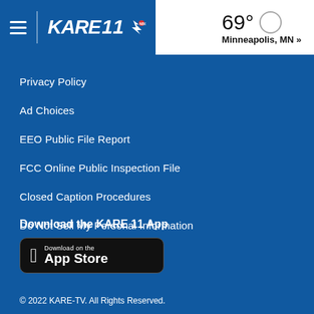KARE 11 | 69° Minneapolis, MN »
Privacy Policy
Ad Choices
EEO Public File Report
FCC Online Public Inspection File
Closed Caption Procedures
Do Not Sell My Personal Information
Download the KARE 11 App
[Figure (logo): Download on the App Store badge with Apple logo]
© 2022 KARE-TV. All Rights Reserved.